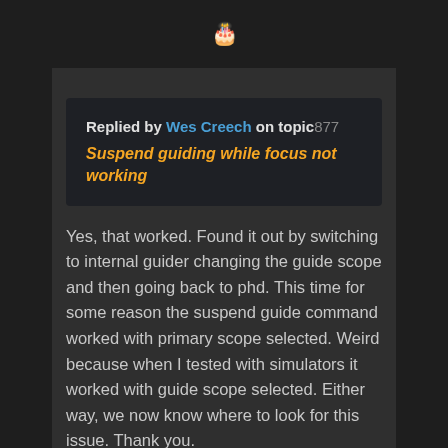[Figure (other): Birthday cake or settings icon at the top of the page in a dark navigation bar]
Replied by Wes Creech on topic 877 Suspend guiding while focus not working
Yes, that worked. Found it out by switching to internal guider changing the guide scope and then going back to phd. This time for some reason the suspend guide command worked with primary scope selected. Weird because when I tested with simulators it worked with guide scope selected. Either way, we now know where to look for this issue. Thank you.